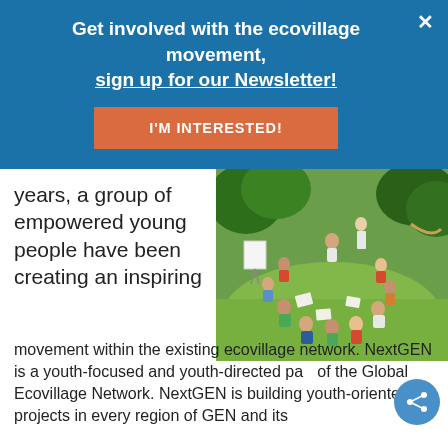Get involved with the ecovillage movement, sign up for our Newsletter!
I'M INTERESTED!
years, a group of empowered young people have been creating an inspiring movement within the existing ecovillage network.
[Figure (photo): Group of young people sitting in a circle outdoors on grass, participating in a group activity or discussion with papers, trees in the background.]
movement within the existing ecovillage network. NextGEN is a youth-focused and youth-directed part of the Global Ecovillage Network. NextGEN is building youth-oriented projects in every region of GEN and its